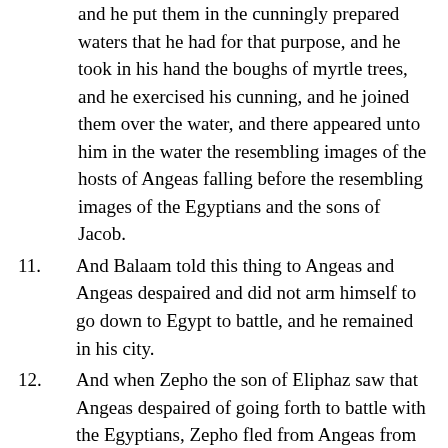and he put them in the cunningly prepared waters that he had for that purpose, and he took in his hand the boughs of myrtle trees, and he exercised his cunning, and he joined them over the water, and there appeared unto him in the water the resembling images of the hosts of Angeas falling before the resembling images of the Egyptians and the sons of Jacob.
11. And Balaam told this thing to Angeas and Angeas despaired and did not arm himself to go down to Egypt to battle, and he remained in his city.
12. And when Zepho the son of Eliphaz saw that Angeas despaired of going forth to battle with the Egyptians, Zepho fled from Angeas from Africa, and he went and came unto Chittim.
13. And all the people of Chittim received him with great honor, and they hired him to fight their battles all the days, and Zepho became exceedingly rich in those days, and the troops of the king of Africa still spread